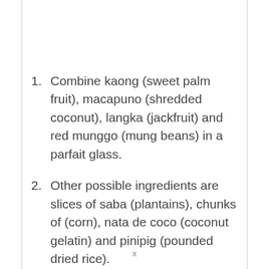Combine kaong (sweet palm fruit), macapuno (shredded coconut), langka (jackfruit) and red munggo (mung beans) in a parfait glass.
Other possible ingredients are slices of saba (plantains), chunks of (corn), nata de coco (coconut gelatin) and pinipig (pounded dried rice).